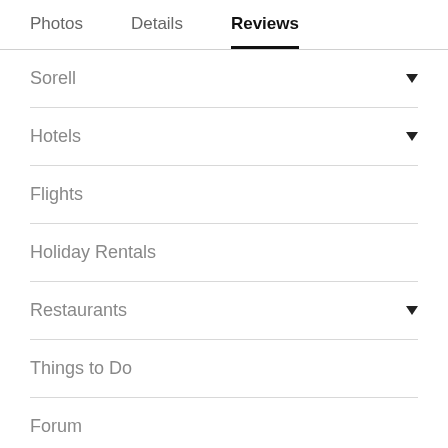Photos   Details   Reviews
Sorell
Hotels
Flights
Holiday Rentals
Restaurants
Things to Do
Forum
Best of 2022
More